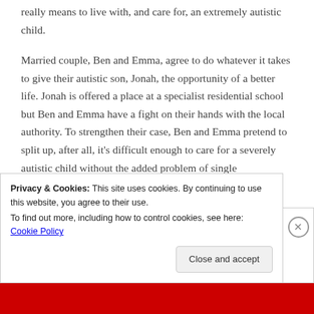really means to live with, and care for, an extremely autistic child.
Married couple, Ben and Emma, agree to do whatever it takes to give their autistic son, Jonah, the opportunity of a better life. Jonah is offered a place at a specialist residential school but Ben and Emma have a fight on their hands with the local authority. To strengthen their case, Ben and Emma pretend to split up, after all, it's difficult enough to care for a severely autistic child without the added problem of single
Privacy & Cookies: This site uses cookies. By continuing to use this website, you agree to their use.
To find out more, including how to control cookies, see here: Cookie Policy
Close and accept